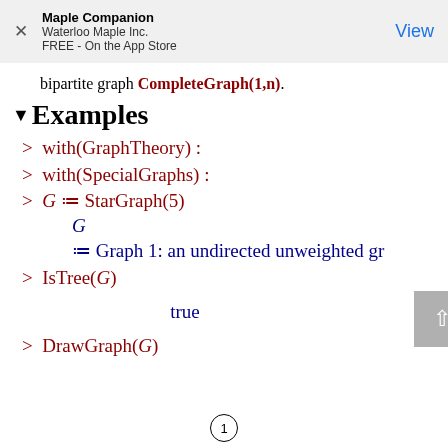Maple Companion
Waterloo Maple Inc.
FREE - On the App Store
View
bipartite graph CompleteGraph(1,n).
▼Examples
> with(GraphTheory) :
> with(SpecialGraphs) :
> G ≔ StarGraph(5)
  G
  ≔ Graph 1: an undirected unweighted gr
> IsTree(G)
  true
> DrawGraph(G)